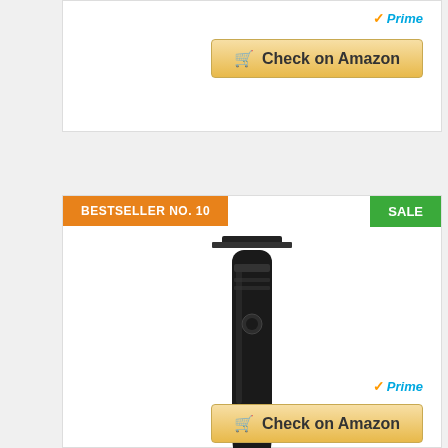[Figure (screenshot): Amazon Prime badge (checkmark + Prime text in blue/orange) - top card]
Check on Amazon
BESTSELLER NO. 10
SALE
[Figure (photo): Andis 04775 Professional GTX T-Outliner beard and hair trimmer - black handheld device with T-shaped blade]
Andis 04775 Professional GTX T-Outliner Beard & Hair Trimmer with Carbon Steel T-Blade, Bump Free...
[Figure (logo): Amazon Prime badge (checkmark + Prime text in blue/orange) - bottom card]
Check on Amazon